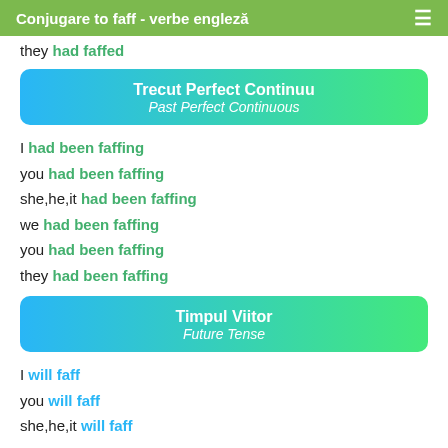Conjugare to faff - verbe engleză
they had faffed
Trecut Perfect Continuu
Past Perfect Continuous
I had been faffing
you had been faffing
she,he,it had been faffing
we had been faffing
you had been faffing
they had been faffing
Timpul Viitor
Future Tense
I will faff
you will faff
she,he,it will faff